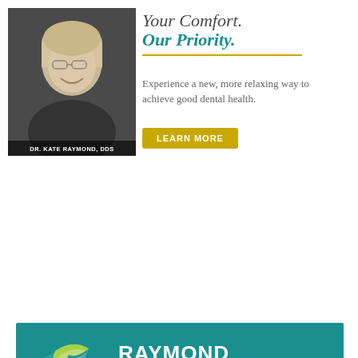[Figure (photo): Professional headshot of Dr. Kate Raymond, DDS, a woman with short blonde hair and glasses, wearing a dark top, smiling against a dark background]
DR. KATE RAYMOND, DDS
Your Comfort. Our Priority.
Experience a new, more relaxing way to achieve good dental health.
LEARN MORE
[Figure (logo): Raymond Dental Group logo on teal background with stylized R bird mark. Text: RAYMOND DENTAL GROUP, FAMILY DENTISTRY & SEDATION CARE]
[Figure (logo): Plexus LGBTQ+ Allied Chamber of Commerce Member badge on magenta background. Left: Connect to LGBTQ+ Owned & Inclusive Businesses. Right: Plexus logo, MEMBER rainbow bar, Connect · Educate · Advocate]